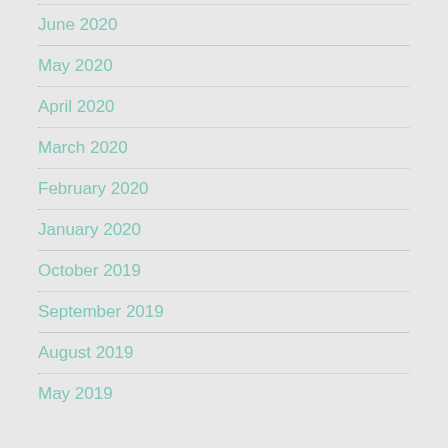June 2020
May 2020
April 2020
March 2020
February 2020
January 2020
October 2019
September 2019
August 2019
May 2019